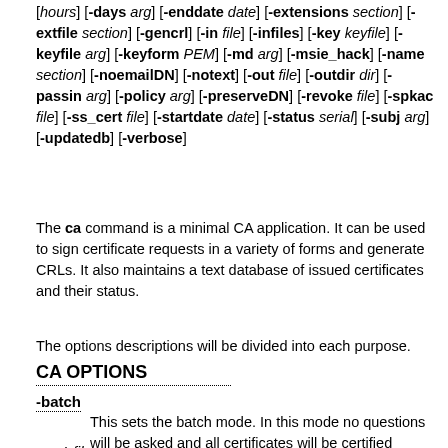[hours] [-days arg] [-enddate date] [-extensions section] [-extfile section] [-gencrl] [-in file] [-infiles] [-key keyfile] [-keyfile arg] [-keyform PEM] [-md arg] [-msie_hack] [-name section] [-noemailDN] [-notext] [-out file] [-outdir dir] [-passin arg] [-policy arg] [-preserveDN] [-revoke file] [-spkac file] [-ss_cert file] [-startdate date] [-status serial] [-subj arg] [-updatedb] [-verbose]
The ca command is a minimal CA application. It can be used to sign certificate requests in a variety of forms and generate CRLs. It also maintains a text database of issued certificates and their status.
The options descriptions will be divided into each purpose.
CA OPTIONS
-batch
This sets the batch mode. In this mode no questions will be asked and all certificates will be certified automatically.
-cert file
The CA certificate file.